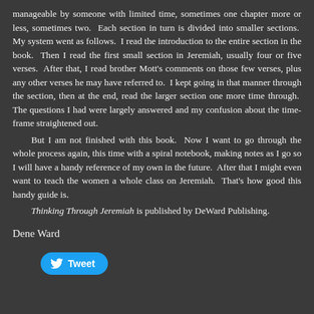manageable by someone with limited time, sometimes one chapter more or less, sometimes two. Each section in turn is divided into smaller sections. My system went as follows. I read the introduction to the entire section in the book. Then I read the first small section in Jeremiah, usually four or five verses. After that, I read brother Mott's comments on those few verses, plus any other verses he may have referred to. I kept going in that manner through the section, then at the end, read the larger section one more time through. The questions I had were largely answered and my confusion about the time-frame straightened out.
But I am not finished with this book. Now I want to go through the whole process again, this time with a spiral notebook, making notes as I go so I will have a handy reference of my own in the future. After that I might even want to teach the women a whole class on Jeremiah. That's how good this handy guide is.
Thinking Through Jeremiah is published by DeWard Publishing.
Dene Ward